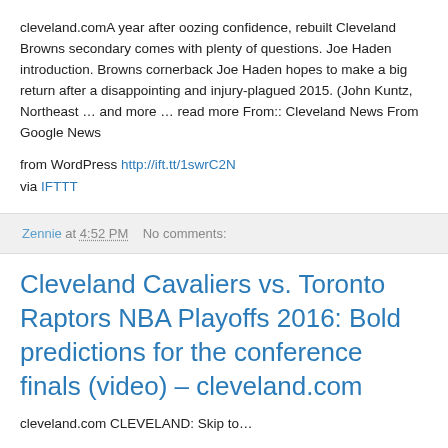cleveland.comA year after oozing confidence, rebuilt Cleveland Browns secondary comes with plenty of questions. Joe Haden introduction. Browns cornerback Joe Haden hopes to make a big return after a disappointing and injury-plagued 2015. (John Kuntz, Northeast … and more … read more From:: Cleveland News From Google News
from WordPress http://ift.tt/1swrC2N
via IFTTT
Zennie at 4:52 PM    No comments:
Cleveland Cavaliers vs. Toronto Raptors NBA Playoffs 2016: Bold predictions for the conference finals (video) – cleveland.com
cleveland.com CLEVELAND: Skip to…